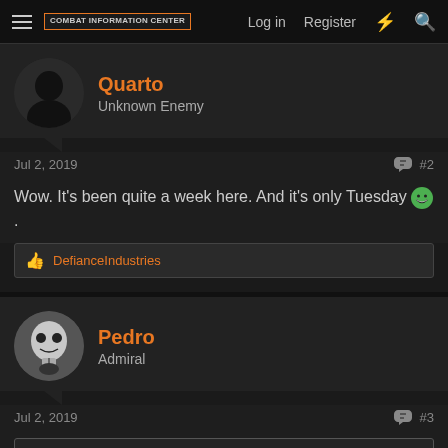COMBAT INFORMATION CENTER | Log in | Register
Quarto
Unknown Enemy
Jul 2, 2019  #2
Wow. It's been quite a week here. And it's only Tuesday 😁 .
DefianceIndustries
Pedro
Admiral
Jul 2, 2019  #3
Quarto said: ↑
Wow. It's been quite a week here. And it's only Tuesday 😁 .